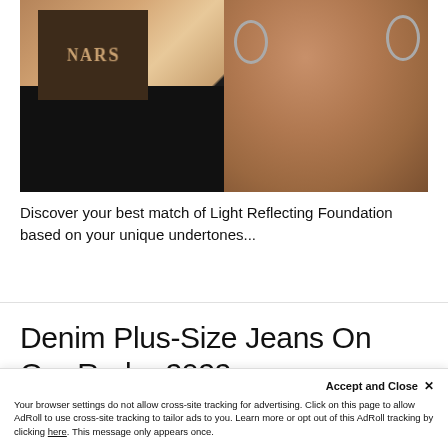[Figure (photo): Split image: left side shows NARS cosmetics foundation product boxes stacked on dark and beige background; right side shows close-up of a woman's face with hoop earrings against a light grey background]
Discover your best match of Light Reflecting Foundation based on your unique undertones...
Denim Plus-Size Jeans On Our Radar 2022
Accept and Close ×
Your browser settings do not allow cross-site tracking for advertising. Click on this page to allow AdRoll to use cross-site tracking to tailor ads to you. Learn more or opt out of this AdRoll tracking by clicking here. This message only appears once.